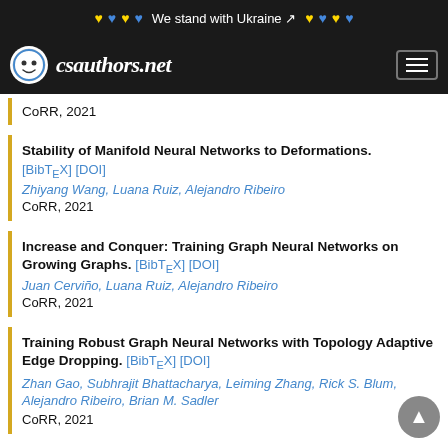We stand with Ukraine
csauthors.net
CoRR, 2021
Stability of Manifold Neural Networks to Deformations.
[BibTeX] [DOI]
Zhiyang Wang, Luana Ruiz, Alejandro Ribeiro
CoRR, 2021
Increase and Conquer: Training Graph Neural Networks on Growing Graphs.
[BibTeX] [DOI]
Juan Cerviño, Luana Ruiz, Alejandro Ribeiro
CoRR, 2021
Training Robust Graph Neural Networks with Topology Adaptive Edge Dropping.
[BibTeX] [DOI]
Zhan Gao, Subhrajit Bhattacharya, Leiming Zhang, Rick S. Blum, Alejandro Ribeiro, Brian M. Sadler
CoRR, 2021